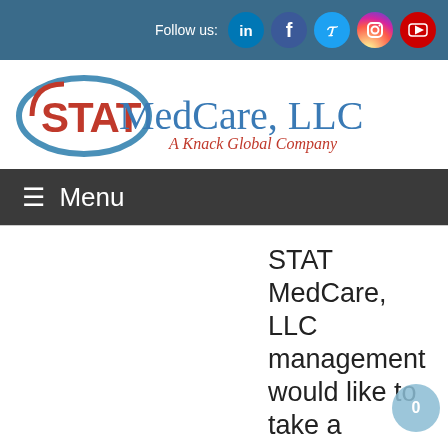Follow us: [LinkedIn] [Facebook] [Twitter] [Instagram] [YouTube]
[Figure (logo): STAT MedCare, LLC — A Knack Global Company logo]
≡ Menu
STAT MedCare, LLC management would like to take a moment